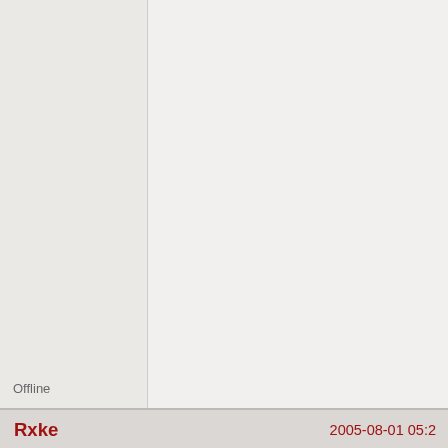The amount of solar radiation reaching the surface of the earth totals some 3.9 million exajoules a year.
Offline
Rxke
2005-08-01 05:2
Member
From: Belgium
Registered: 2003-11-03
Posts: 3,667
I was kidding! " 🙂 " means I kid, yes?

was just that your explanation sounded a bit like all posts would be wrong and